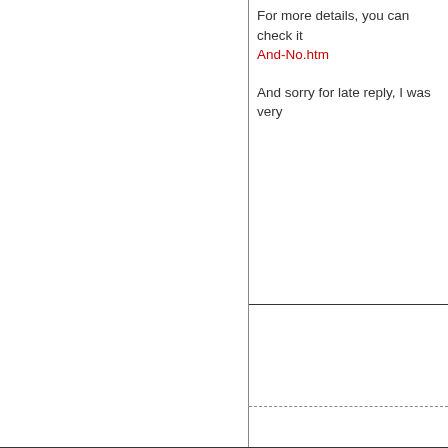For more details, you can check it And-No.htm

And sorry for late reply, I was very